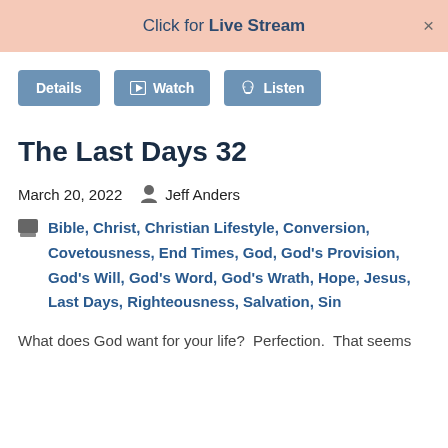Click for Live Stream
Details  Watch  Listen
The Last Days 32
March 20, 2022   Jeff Anders
Bible, Christ, Christian Lifestyle, Conversion, Covetousness, End Times, God, God's Provision, God's Will, God's Word, God's Wrath, Hope, Jesus, Last Days, Righteousness, Salvation, Sin
What does God want for your life?  Perfection.  That seems